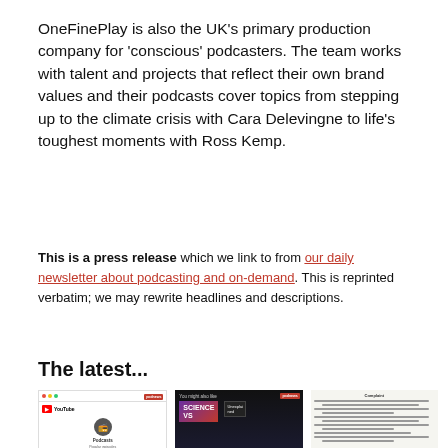OneFinePlay is also the UK's primary production company for 'conscious' podcasters. The team works with talent and projects that reflect their own brand values and their podcasts cover topics from stepping up to the climate crisis with Cara Delevingne to life's toughest moments with Ross Kemp.
This is a press release which we link to from our daily newsletter about podcasting and on-demand. This is reprinted verbatim; we may rewrite headlines and descriptions.
The latest...
[Figure (screenshot): Screenshot of YouTube interface showing Podcasts section with Popular episodes]
[Figure (screenshot): Dark-themed podcast app screenshot showing 'You might also like' with Science VS podcast artwork]
[Figure (screenshot): Screenshot of a legal/court document with numbered paragraphs]